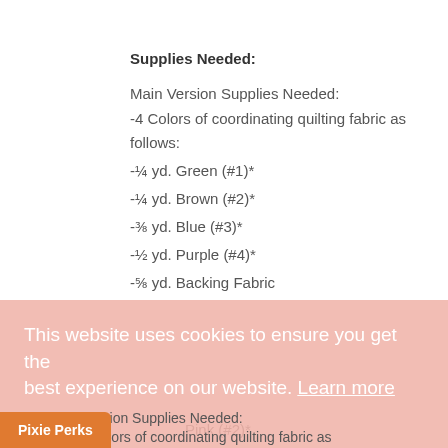Supplies Needed:
Main Version Supplies Needed:
-4 Colors of coordinating quilting fabric as follows:
-¼ yd. Green (#1)*
-¼ yd. Brown (#2)*
-⅜ yd. Blue (#3)*
-½ yd. Purple (#4)*
-⅝ yd. Backing Fabric
This website uses cookies to ensure you get the best experience on our website. Learn more
Variation Supplies Needed:
-4 Colors of coordinating quilting fabric as follows:
-¼ yd. Tan (#1)*
Pink (#2)*
Got it!
Pixie Perks